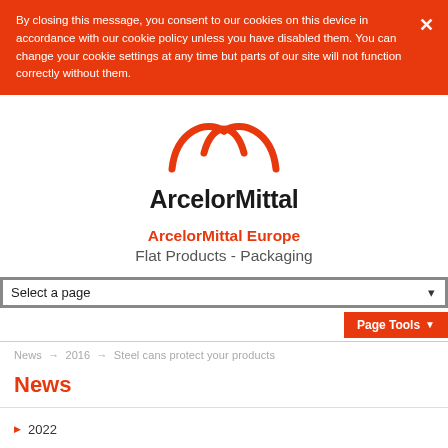By closing this message, you consent to our cookies on this device in accordance with our cookie policy unless you have disabled them. You can change your cookie settings at any time but parts of our site will not function correctly without them.
[Figure (logo): ArcelorMittal logo: orange arc/swoosh graphic above the wordmark 'ArcelorMittal' in bold dark text]
ArcelorMittal Europe Flat Products - Packaging
Select a page
Page Tools
News → 2016 → Steel cans protect your products
News
2022